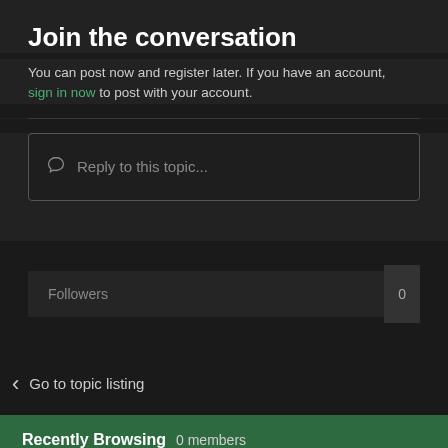Join the conversation
You can post now and register later. If you have an account, sign in now to post with your account.
Reply to this topic...
Followers  0
< Go to topic listing
Recently Browsing  0 members